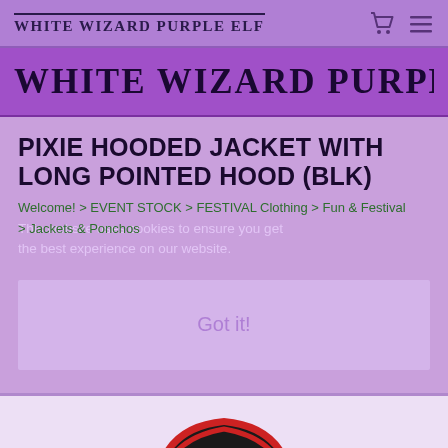WHITE WIZARD PURPLE ELF
WHITE WIZARD PURPLE EI
PIXIE HOODED JACKET WITH LONG POINTED HOOD (BLK)
This website uses cookies to ensure you get the best experience on our website.
Welcome! > EVENT STOCK > FESTIVAL Clothing > Fun & Festival > Jackets & Ponchos
Got it!
[Figure (photo): Black hooded pixie jacket with red lining visible at hood, zipper front, shown against light background]